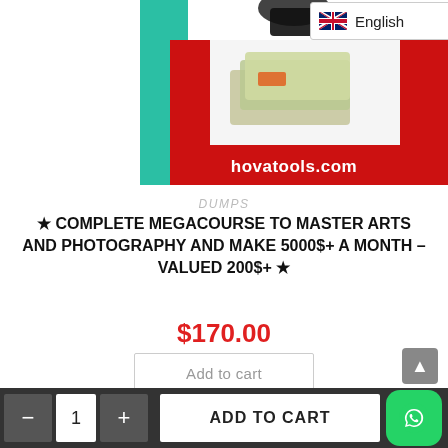[Figure (screenshot): E-commerce product page screenshot showing a product image with a red and teal background, stacked dollar bills, camera, and hovatools.com branding. Language selector showing English flag at top right. Below the image: category label DUMPS, product title, price $170.00, Add to cart button, and bottom cart bar.]
DUMPS
★ COMPLETE MEGACOURSE TO MASTER ARTS AND PHOTOGRAPHY AND MAKE 5000$+ A MONTH – VALUED 200$+ ★
$170.00
Add to cart
ADD TO CART